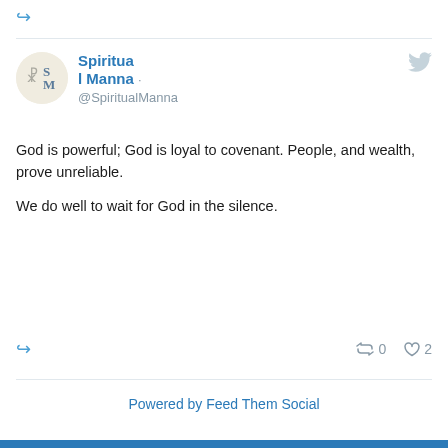[Figure (screenshot): Twitter/social media feed screenshot showing a tweet from Spiritual Manna account]
Spiritual Manna · @SpiritualManna
God is powerful; God is loyal to covenant. People, and wealth, prove unreliable.

We do well to wait for God in the silence.
Powered by Feed Them Social